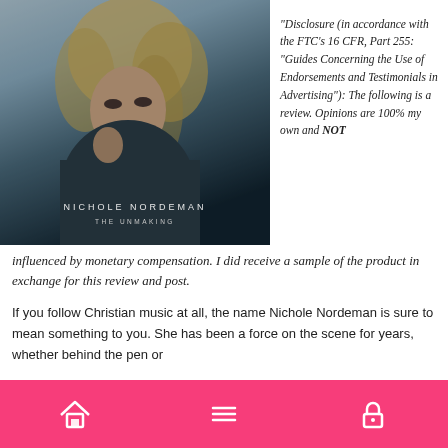[Figure (photo): Album cover for Nichole Nordeman 'The Unmaking' showing a blonde woman in a leather jacket with text overlay]
“Disclosure (in accordance with the FTC’s 16 CFR, Part 255: “Guides Concerning the Use of Endorsements and Testimonials in Advertising”): The following is a review. Opinions are 100% my own and NOT influenced by monetary compensation. I did receive a sample of the product in exchange for this review and post.
If you follow Christian music at all, the name Nichole Nordeman is sure to mean something to you. She has been a force on the scene for years, whether behind the pen or